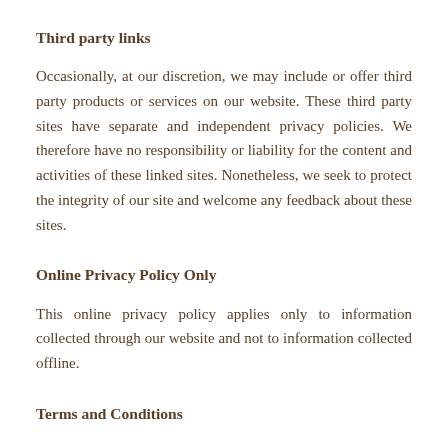Third party links
Occasionally, at our discretion, we may include or offer third party products or services on our website. These third party sites have separate and independent privacy policies. We therefore have no responsibility or liability for the content and activities of these linked sites. Nonetheless, we seek to protect the integrity of our site and welcome any feedback about these sites.
Online Privacy Policy Only
This online privacy policy applies only to information collected through our website and not to information collected offline.
Terms and Conditions